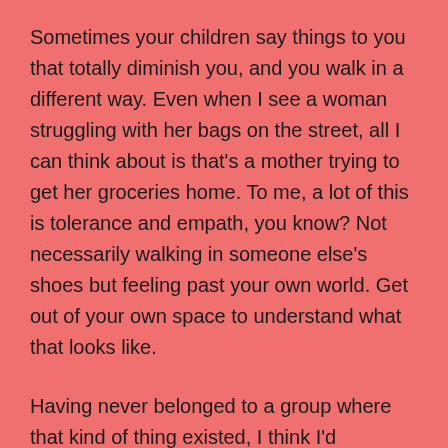Sometimes your children say things to you that totally diminish you, and you walk in a different way. Even when I see a woman struggling with her bags on the street, all I can think about is that's a mother trying to get her groceries home. To me, a lot of this is tolerance and empath, you know? Not necessarily walking in someone else's shoes but feeling past your own world. Get out of your own space to understand what that looks like.
Having never belonged to a group where that kind of thing existed, I think I'd probably have to say a few things. I always think is there's a way to tone that down, and there's a way to invite those people out of the room, because it shouldn't change the intention of the group. If the intention is to hold each other up in a space, where maybe elsewhere in the world, you're not held up,